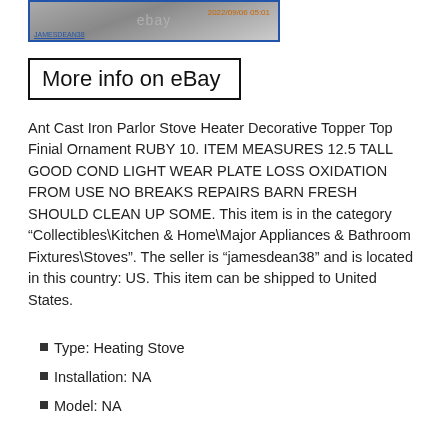[Figure (photo): Partial photo of a cast iron parlor stove finial/topper from eBay listing by jamesdean38, dated 2022/09/06 05:01]
More info on eBay
Ant Cast Iron Parlor Stove Heater Decorative Topper Top Finial Ornament RUBY 10. ITEM MEASURES 12.5 TALL GOOD COND LIGHT WEAR PLATE LOSS OXIDATION FROM USE NO BREAKS REPAIRS BARN FRESH SHOULD CLEAN UP SOME. This item is in the category “Collectibles\Kitchen & Home\Major Appliances & Bathroom Fixtures\Stoves”. The seller is “jamesdean38” and is located in this country: US. This item can be shipped to United States.
Type: Heating Stove
Installation: NA
Model: NA